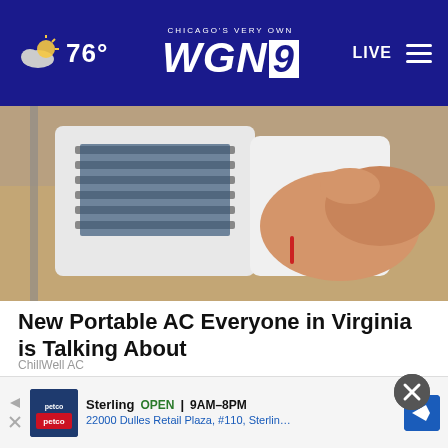76° | CHICAGO'S VERY OWN WGN9 | LIVE
[Figure (photo): A hand holding a small white portable air conditioner unit with vents visible, outdoors with blurred background]
New Portable AC Everyone in Virginia is Talking About
ChillWell AC
[Figure (photo): Close-up of dry or irritated skin on a foot/heel resting on a light wood surface]
Sterling  OPEN | 9AM–8PM  22000 Dulles Retail Plaza, #110, Sterling